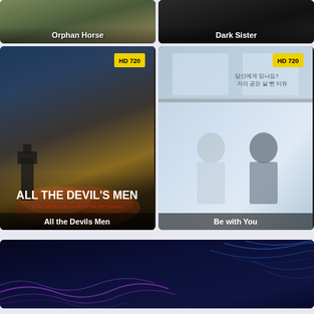[Figure (screenshot): Movie thumbnail for Orphan Horse with title overlay]
[Figure (screenshot): Movie thumbnail for Dark Sister with title overlay]
[Figure (screenshot): Movie thumbnail for All the Devils Men with HD 720 badge]
[Figure (screenshot): Movie thumbnail for Be with You with HD 720 badge and Korean text]
[Figure (illustration): Dark blue banner with purple and blue wave/sound decorative elements]